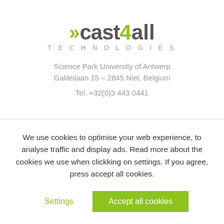[Figure (logo): cast4all Technologies logo with green chevron arrows and green '4', gray text for 'cast' and 'all', gray 'TECHNOLOGIES' subtitle]
Science Park University of Antwerp
Galileilaan 15 – 2845 Niel, Belgium
Tel. +32(0)3 443 0441
We use cookies to optimise your web experience, to analyse traffic and display ads. Read more about the cookies we use when clickking on settings. If you agree, press accept all cookies.
Settings
Accept all cookies